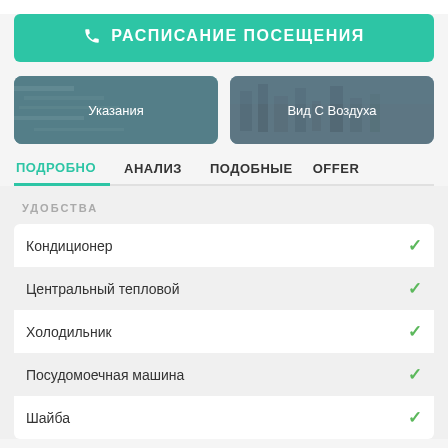РАСПИСАНИЕ ПОСЕЩЕНИЯ
[Figure (photo): Left card with map/directions background labeled Указания]
[Figure (photo): Right card with aerial city view background labeled Вид С Воздуха]
ПОДРОБНО  АНАЛИЗ  ПОДОБНЫЕ  OFFER
УДОБСТВА
Кондиционер
Центральный тепловой
Холодильник
Посудомоечная машина
Шайба